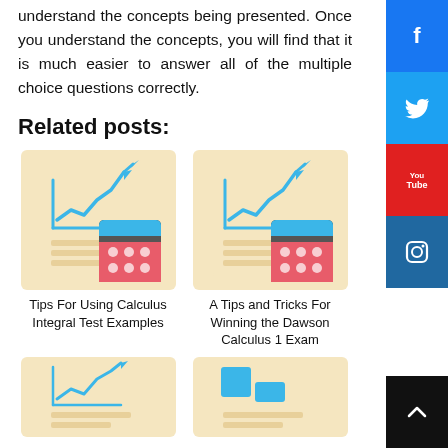understand the concepts being presented. Once you understand the concepts, you will find that it is much easier to answer all of the multiple choice questions correctly.
Related posts:
[Figure (illustration): Calculus/math themed icon with a chart showing upward trend and a calculator, on a beige document background]
Tips For Using Calculus Integral Test Examples
[Figure (illustration): Calculus/math themed icon with a chart showing upward trend and a calculator, on a beige document background]
A Tips and Tricks For Winning the Dawson Calculus 1 Exam
[Figure (illustration): Partial calculus/math themed icon on a beige document background, bottom row left]
[Figure (illustration): Partial calculus/math themed icon on a beige document background, bottom row right]